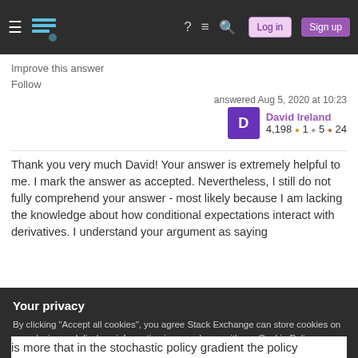Stack Exchange navigation bar with hamburger menu, logo, help, chat, search icons, Log in and Sign up buttons
Improve this answer
Follow
answered Aug 5, 2020 at 10:23
David Ireland 4,198 ● 1 ● 5 ● 24
Thank you very much David! Your answer is extremely helpful to me. I mark the answer as accepted. Nevertheless, I still do not fully comprehend your answer - most likely because I am lacking the knowledge about how conditional expectations interact with derivatives. I understand your argument as saying
Your privacy
By clicking "Accept all cookies", you agree Stack Exchange can store cookies on your device and disclose information in accordance with our Cookie Policy.
Accept all cookies   Customize settings
is more that in the stochastic policy gradient the policy